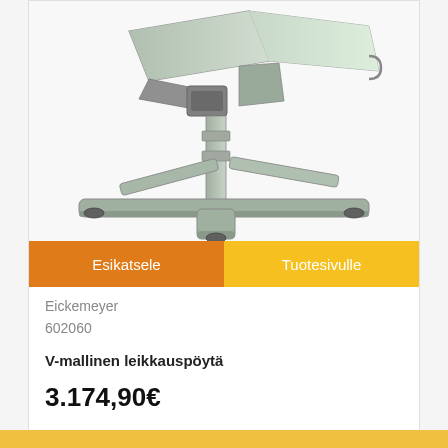[Figure (photo): Eickemeyer V-mallinen leikkauspöytä (surgical table) with adjustable metal frame, V-shaped trough surface, telescoping height-adjustable column, and X-shaped base with rubber feet, shown at an angle on white background.]
Esikatsele
Tuotesivulle
Eickemeyer
602060
V-mallinen leikkauspöytä
3.174,90€